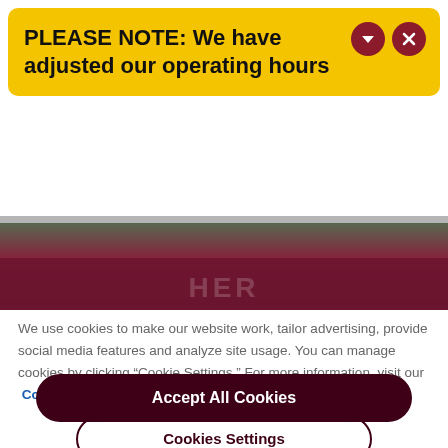PLEASE NOTE: We have adjusted our operating hours
[Figure (photo): Background photo showing a dark maroon/crimson storefront or building with partial text overlay]
We use cookies to make our website work, tailor advertising, provide social media features and analyze site usage. You can manage cookies by clicking “Cookie Settings.” For more information, visit our Cookie Policy
Accept All Cookies
Cookies Settings